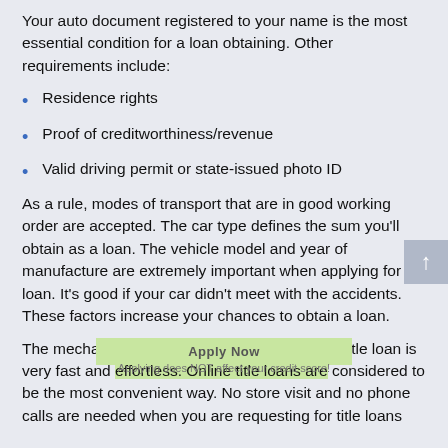Your auto document registered to your name is the most essential condition for a loan obtaining. Other requirements include:
Residence rights
Proof of creditworthiness/revenue
Valid driving permit or state-issued photo ID
As a rule, modes of transport that are in good working order are accepted. The car type defines the sum you'll obtain as a loan. The vehicle model and year of manufacture are extremely important when applying for a loan. It's good if your car didn't meet with the accidents. These factors increase your chances to obtain a loan.
The mechanism of requesting for a Springfield title loan is very fast and effortless. Online title loans are considered to be the most convenient way. No store visit and no phone calls are needed when you are requesting for title loans